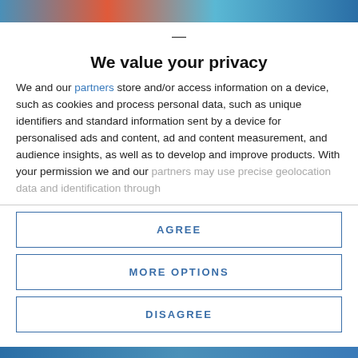[Figure (photo): Partial image visible at top and bottom of page, blurred behind modal overlay]
We value your privacy
We and our partners store and/or access information on a device, such as cookies and process personal data, such as unique identifiers and standard information sent by a device for personalised ads and content, ad and content measurement, and audience insights, as well as to develop and improve products. With your permission we and our partners may use precise geolocation data and identification through
AGREE
MORE OPTIONS
DISAGREE